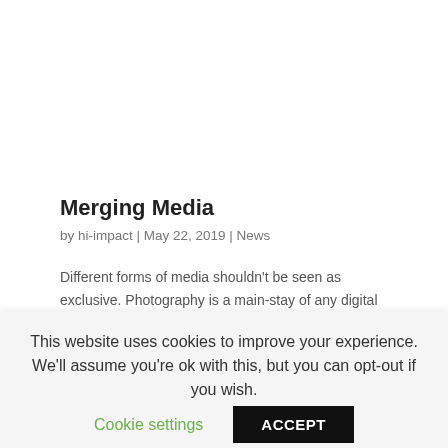Merging Media
by hi-impact | May 22, 2019 | News
Different forms of media shouldn't be seen as exclusive. Photography is a main-stay of any digital marketing strategy and video was a natural successor that has become the expected minimum. However, we are now
This website uses cookies to improve your experience. We'll assume you're ok with this, but you can opt-out if you wish.
Cookie settings
ACCEPT